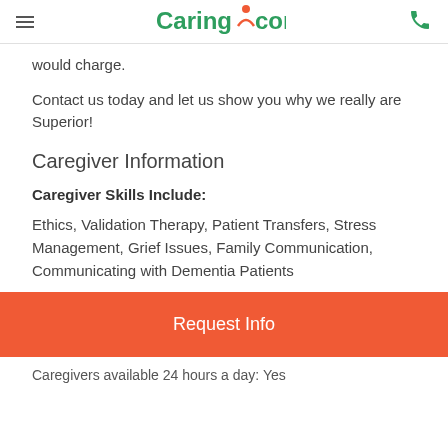Caring.com
would charge.
Contact us today and let us show you why we really are Superior!
Caregiver Information
Caregiver Skills Include:
Ethics, Validation Therapy, Patient Transfers, Stress Management, Grief Issues, Family Communication, Communicating with Dementia Patients
[Figure (other): Request Info button - orange/red CTA button]
Caregivers available 24 hours a day: Yes